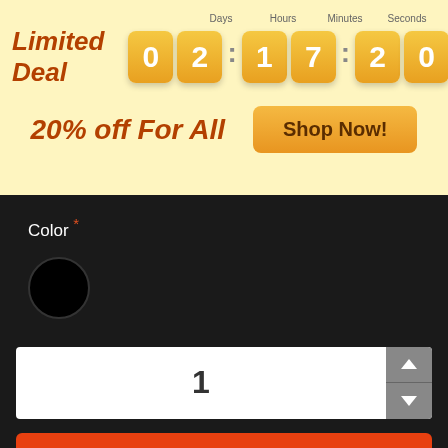[Figure (screenshot): E-commerce product page banner with countdown timer showing 02:17:20:05, '20% off For All' text, and Shop Now button]
Color *
[Figure (illustration): Black circle representing selected color option]
1
Add to Cart
[Figure (illustration): Heart icon (wishlist)]